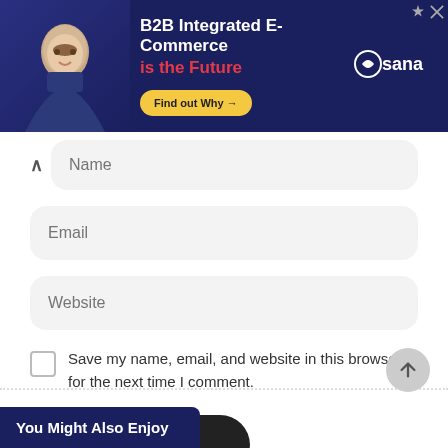[Figure (screenshot): Advertisement banner for Sana B2B Integrated E-Commerce with a man on dark navy background, text 'B2B Integrated E-Commerce is the Future', Find out Why button, and Sana logo]
Name
Email
Website
Save my name, email, and website in this browser for the next time I comment.
Post Review
You Might Also Enjoy